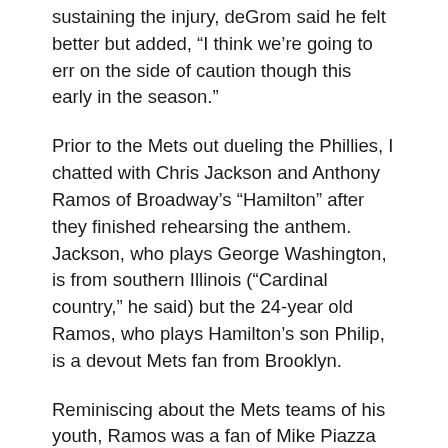sustaining the injury, deGrom said he felt better but added, “I think we’re going to err on the side of caution though this early in the season.”
Prior to the Mets out dueling the Phillies, I chatted with Chris Jackson and Anthony Ramos of Broadway’s “Hamilton” after they finished rehearsing the anthem. Jackson, who plays George Washington, is from southern Illinois (“Cardinal country,” he said) but the 24-year old Ramos, who plays Hamilton’s son Philip, is a devout Mets fan from Brooklyn.
Reminiscing about the Mets teams of his youth, Ramos was a fan of Mike Piazza and remembers enjoying a VHS tape of great plays by Rey Ordonez (“the dude was everywhere”). Recalling other favorite players from that era like Agbayani, Ventura, and Alfonzo, Ramos said, “Al Leiter was my guy,” and fondly compared Armando Benitez to the “Wild Thing” from the movie “Major